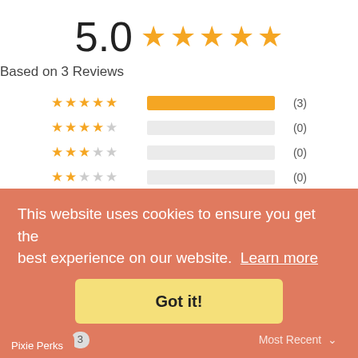5.0 ★★★★★
Based on 3 Reviews
[Figure (bar-chart): Star Rating Distribution]
[Figure (photo): Three thumbnail photos of a doll in military/scout outfit]
Write a Review
This website uses cookies to ensure you get the best experience on our website.  Learn more
Got it!
Reviews  3
Most Recent
Pixie Perks